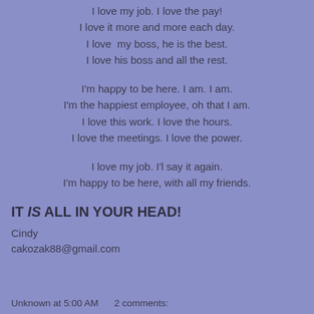I love my job. I love the pay!
I love it more and more each day.
I love  my boss, he is the best.
I love his boss and all the rest.
I'm happy to be here. I am. I am.
I'm the happiest employee, oh that I am.
I love this work. I love the hours.
I love the meetings. I love the power.
I love my job. I'l say it again.
I'm happy to be here, with all my friends.
IT IS ALL IN YOUR HEAD!
Cindy
cakozak88@gmail.com
Unknown at 5:00 AM    2 comments: